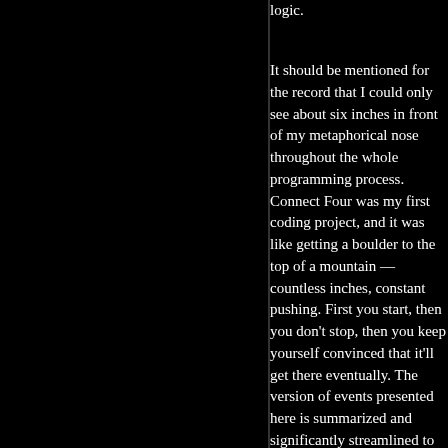logic.
It should be mentioned for the record that I could only see about six inches in front of my metaphorical nose throughout the whole programming process. Connect Four was my first coding project, and it was like getting a boulder to the top of a mountain — countless inches, constant pushing. First you start, then you don't stop, then you keep yourself convinced that it'll get there eventually. The version of events presented here is summarized and significantly streamlined to tell the story of what worked, but I'd be remiss not to mention the innumerable setbacks that I'm glossing over: sometimes I pushed the boulder miles and miles into a dead-end; sometimes I'd dead-lift the damn thing up a sheer cliff face only to find that there had been a ramp right to